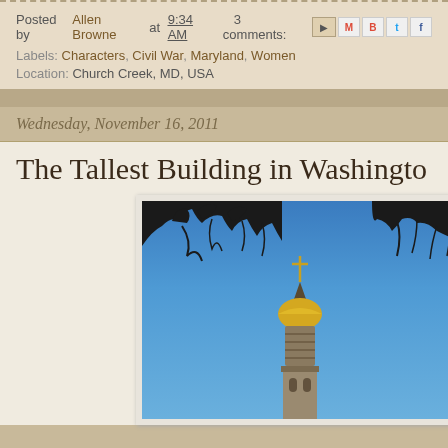Posted by Allen Browne at 9:34 AM   3 comments:
Labels: Characters, Civil War, Maryland, Women
Location: Church Creek, MD, USA
Wednesday, November 16, 2011
The Tallest Building in Washington
[Figure (photo): Photo of a church steeple with golden dome and cross against a bright blue sky, with dark tree branches silhouetted in the foreground]